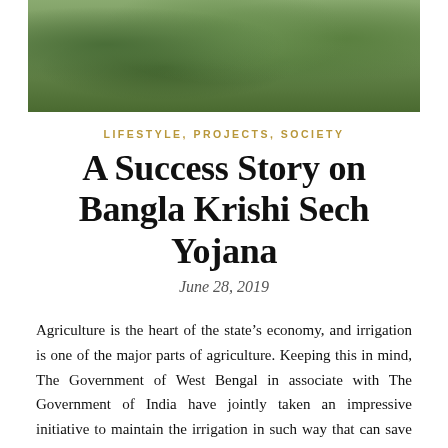[Figure (photo): Aerial or close-up photo of green tree foliage canopy]
LIFESTYLE, PROJECTS, SOCIETY
A Success Story on Bangla Krishi Sech Yojana
June 28, 2019
Agriculture is the heart of the state’s economy, and irrigation is one of the major parts of agriculture. Keeping this in mind, The Government of West Bengal in associate with The Government of India have jointly taken an impressive initiative to maintain the irrigation in such way that can save water, cost and time. Yes, it is sprinkler irrigation under Bangla Krishi Sech Yojana and Pradhan Mantri Krishi Sinchai Yojana.